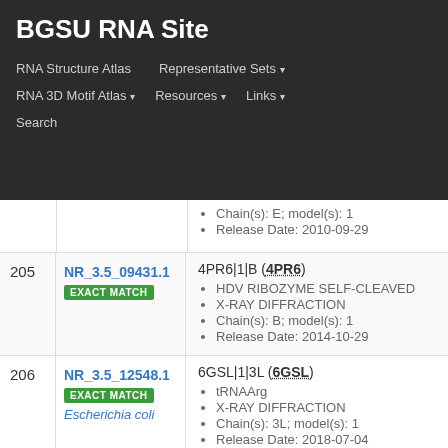BGSU RNA Site
RNA Structure Atlas | Representative Sets ▾ | RNA 3D Motif Atlas ▾ | Resources ▾ | Links ▾ | Search
| # | ID | Description |
| --- | --- | --- |
|  |  | Chain(s): E; model(s): 1
Release Date: 2010-09-29 |
| 205 | NR_3.5_09431.1
EXACT MATCH | 4PR6|1|B (4PR6)
• HDV RIBOZYME SELF-CLEAVED
• X-RAY DIFFRACTION
• Chain(s): B; model(s): 1
• Release Date: 2014-10-29 |
| 206 | NR_3.5_12548.1
EXACT MATCH
Escherichia coli | 6GSL|1|3L (6GSL)
• tRNAArg
• X-RAY DIFFRACTION
• Chain(s): 3L; model(s): 1
• Release Date: 2018-07-04 |